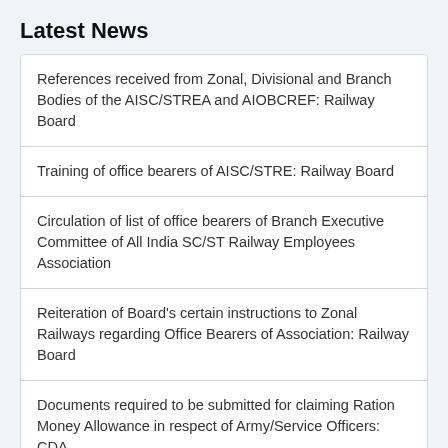Latest News
References received from Zonal, Divisional and Branch Bodies of the AISC/STREA and AIOBCREF: Railway Board
Training of office bearers of AISC/STRE: Railway Board
Circulation of list of office bearers of Branch Executive Committee of All India SC/ST Railway Employees Association
Reiteration of Board's certain instructions to Zonal Railways regarding Office Bearers of Association: Railway Board
Documents required to be submitted for claiming Ration Money Allowance in respect of Army/Service Officers: CDA
Procurement of engineering materials by Stores